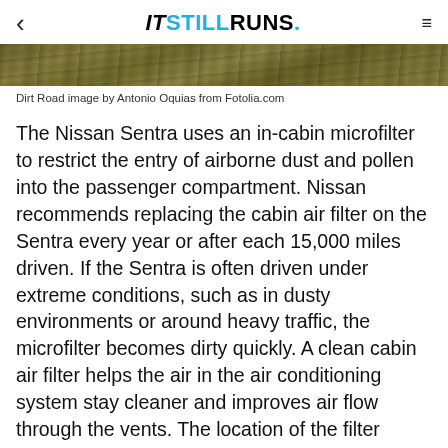IT STILL RUNS.
[Figure (photo): Cropped dirt road or outdoor landscape photo strip at top of article]
Dirt Road image by Antonio Oquias from Fotolia.com
The Nissan Sentra uses an in-cabin microfilter to restrict the entry of airborne dust and pollen into the passenger compartment. Nissan recommends replacing the cabin air filter on the Sentra every year or after each 15,000 miles driven. If the Sentra is often driven under extreme conditions, such as in dusty environments or around heavy traffic, the microfilter becomes dirty quickly. A clean cabin air filter helps the air in the air conditioning system stay cleaner and improves air flow through the vents. The location of the filter varies depending on the model year.